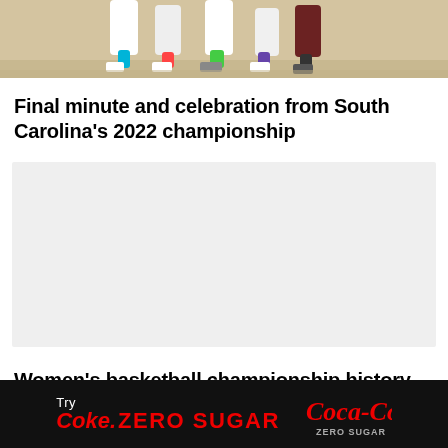[Figure (photo): Basketball players in action, cropped showing legs and lower bodies, appears to be women's basketball game]
Final minute and celebration from South Carolina's 2022 championship
[Figure (other): Video player placeholder, light gray rectangle for embedded video content]
Women's basketball championship history
[Figure (other): Coca-Cola Zero Sugar advertisement banner with 'Try Coke Zero Sugar' text and Coca-Cola Zero Sugar logo on black background]